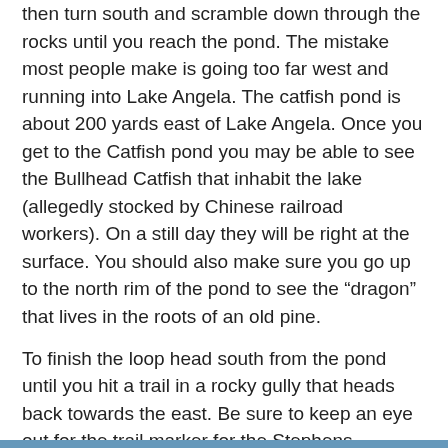then turn south and scramble down through the rocks until you reach the pond. The mistake most people make is going too far west and running into Lake Angela. The catfish pond is about 200 yards east of Lake Angela. Once you get to the Catfish pond you may be able to see the Bullhead Catfish that inhabit the lake (allegedly stocked by Chinese railroad workers). On a still day they will be right at the surface. You should also make sure you go up to the north rim of the pond to see the “dragon” that lives in the roots of an old pine.
To finish the loop head south from the pond until you hit a trail in a rocky gully that heads back towards the east. Be sure to keep an eye out for the trail marker for the Stephens, Townsend Murphy party. After a scramble down the gully you will join up with the PCT again and you retrace your steps south down the gully back to the trailhead at the road.
Download: KML file — PDF file